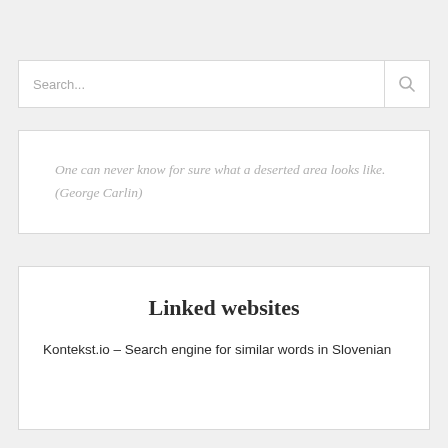[Figure (screenshot): Search input box with placeholder text 'Search...' and a search icon on the right]
One can never know for sure what a deserted area looks like. (George Carlin)
Linked websites
Kontekst.io – Search engine for similar words in Slovenian